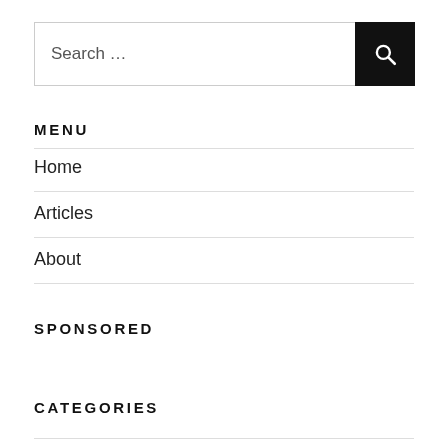Search …
MENU
Home
Articles
About
SPONSORED
CATEGORIES